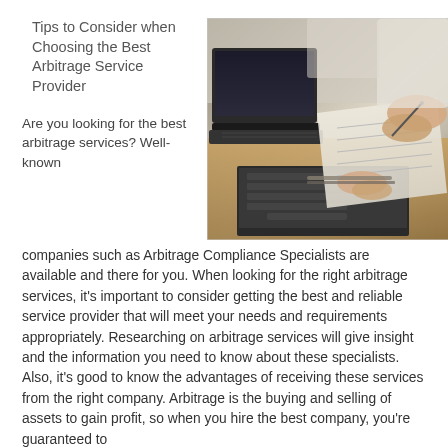Tips to Consider when Choosing the Best Arbitrage Service Provider
[Figure (photo): Two people at a desk working with laptops and papers, one holding a pen over documents, shot from above on a wooden table.]
Are you looking for the best arbitrage services? Well-known companies such as Arbitrage Compliance Specialists are available and there for you. When looking for the right arbitrage services, it's important to consider getting the best and reliable service provider that will meet your needs and requirements appropriately. Researching on arbitrage services will give insight and the information you need to know about these specialists. Also, it's good to know the advantages of receiving these services from the right company. Arbitrage is the buying and selling of assets to gain profit, so when you hire the best company, you're guaranteed to